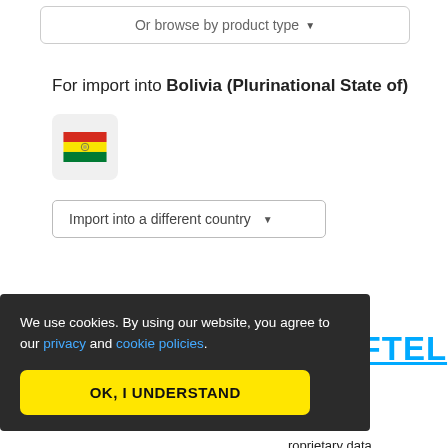[Figure (screenshot): A button labeled 'Or browse by product type' with a dropdown arrow]
For import into Bolivia (Plurinational State of)
[Figure (illustration): Bolivia flag icon in a rounded square container]
[Figure (screenshot): Dropdown selector labeled 'Import into a different country']
[Figure (screenshot): Button labeled 'Change default']
WHAT MAKES TARIFFTEL
We use cookies. By using our website, you agree to our privacy and cookie policies.
hes an allows you to e approach to roprietary data
[Figure (screenshot): Yellow button labeled 'OK, I UNDERSTAND']